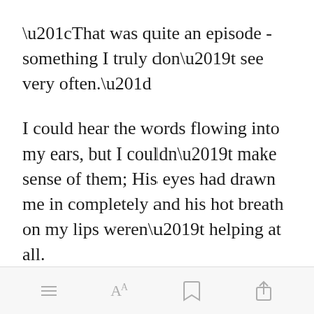“That was quite an episode - something I truly don’t see very often.”
I could hear the words flowing into my ears, but I couldn’t make sense of them; His eyes had drawn me in completely and his hot breath on my lips weren’t helping at all.
Open in app